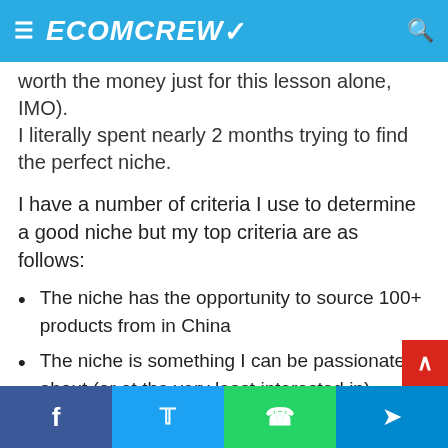ECOMCREW
worth the money just for this lesson alone, IMO). I literally spent nearly 2 months trying to find the perfect niche.
I have a number of criteria I use to determine a good niche but my top criteria are as follows:
The niche has the opportunity to source 100+ products from in China
The niche is something I can be passionate about (or at the very least interested in)
Facebook | Twitter | WhatsApp | Telegram